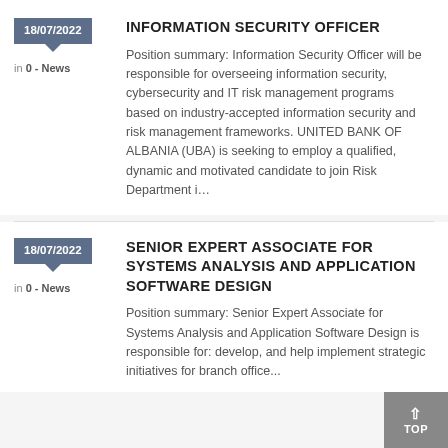18/07/2022
in 0 - News
INFORMATION SECURITY OFFICER
Position summary: Information Security Officer will be responsible for overseeing information security, cybersecurity and IT risk management programs based on industry-accepted information security and risk management frameworks. UNITED BANK OF ALBANIA (UBA) is seeking to employ a qualified, dynamic and motivated candidate to join Risk Department i…
18/07/2022
in 0 - News
SENIOR EXPERT ASSOCIATE FOR SYSTEMS ANALYSIS AND APPLICATION SOFTWARE DESIGN
Position summary: Senior Expert Associate for Systems Analysis and Application Software Design is responsible for: develop, and help implement strategic initiatives for branch office...